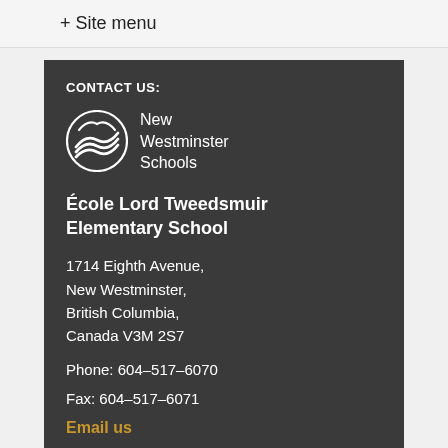+ Site menu
CONTACT US:
[Figure (logo): New Westminster Schools circular logo with wave design, white on dark background, with text 'New Westminster Schools']
École Lord Tweedsmuir Elementary School
1714 Eighth Avenue, New Westminster, British Columbia, Canada V3M 2S7
Phone: 604-517-6070
Fax: 604-517-6071
Email us